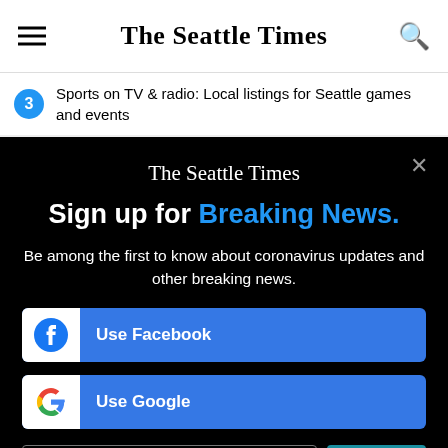The Seattle Times
Sports on TV & radio: Local listings for Seattle games and events
[Figure (screenshot): The Seattle Times newsletter signup modal on black background with Facebook and Google login buttons and email signup field]
Sign up for Breaking News.
Be among the first to know about coronavirus updates and other breaking news.
Use Facebook
Use Google
Your email address
Sign up